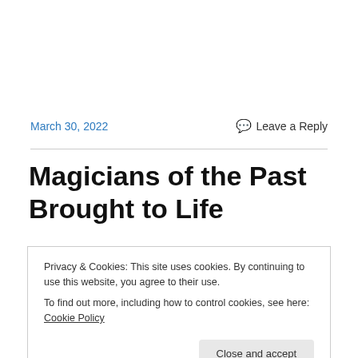March 30, 2022
Leave a Reply
Magicians of the Past Brought to Life
Privacy & Cookies: This site uses cookies. By continuing to use this website, you agree to their use.
To find out more, including how to control cookies, see here: Cookie Policy
Close and accept